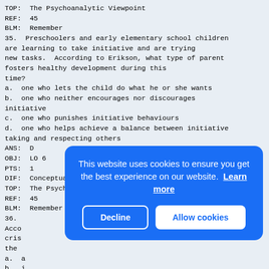TOP: The Psychoanalytic Viewpoint
REF: 45
BLM: Remember
35. Preschoolers and early elementary school children are learning to take initiative and are trying new tasks. According to Erikson, what type of parent fosters healthy development during this time?
a. one who lets the child do what he or she wants
b. one who neither encourages nor discourages initiative
c. one who punishes initiative behaviours
d. one who helps achieve a balance between initiative taking and respecting others
ANS: D
OBJ: LO 6
PTS: 1
DIF: Conceptual
TOP: The Psychoanalytic Viewpoint
REF: 45
BLM: Remember
36.
Acco cris the
a. a
b. i
c. b
d. i
ANS:
OBJ:
PTS: 1
DIF:
[Figure (screenshot): Cookie consent overlay: blue rounded rectangle with text 'This website uses cookies to ensure you get the best experience on our website. Learn more' and two buttons: 'Decline' and 'Allow cookies']